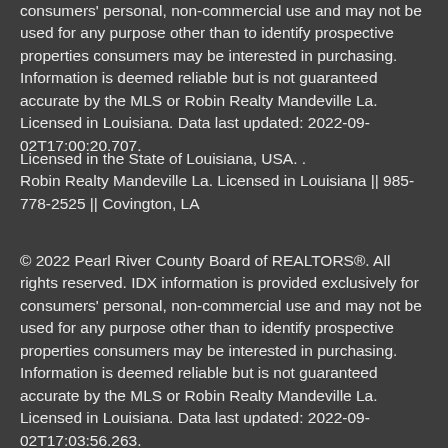consumers' personal, non-commercial use and may not be used for any purpose other than to identify prospective properties consumers may be interested in purchasing. Information is deemed reliable but is not guaranteed accurate by the MLS or Robin Realty Mandeville La. Licensed in Louisiana. Data last updated: 2022-09-02T17:00:20.707.
Licensed in the State of Louisiana, USA. . Robin Realty Mandeville La. Licensed in Louisiana || 985-778-2525 || Covington, LA
© 2022 Pearl River County Board of REALTORS®. All rights reserved. IDX information is provided exclusively for consumers' personal, non-commercial use and may not be used for any purpose other than to identify prospective properties consumers may be interested in purchasing. Information is deemed reliable but is not guaranteed accurate by the MLS or Robin Realty Mandeville La. Licensed in Louisiana. Data last updated: 2022-09-02T17:03:56.263.